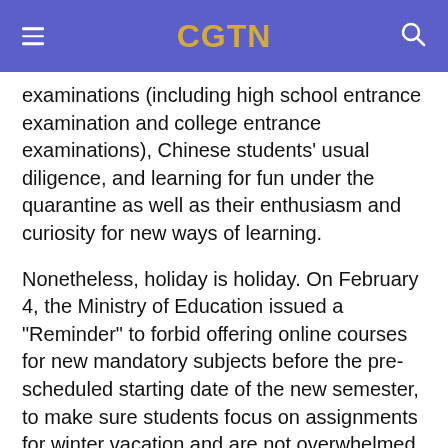CGTN
examinations (including high school entrance examination and college entrance examinations), Chinese students' usual diligence, and learning for fun under the quarantine as well as their enthusiasm and curiosity for new ways of learning.
Nonetheless, holiday is holiday. On February 4, the Ministry of Education issued a "Reminder" to forbid offering online courses for new mandatory subjects before the pre-scheduled starting date of the new semester, to make sure students focus on assignments for winter vacation and are not overwhelmed by online learning burden.